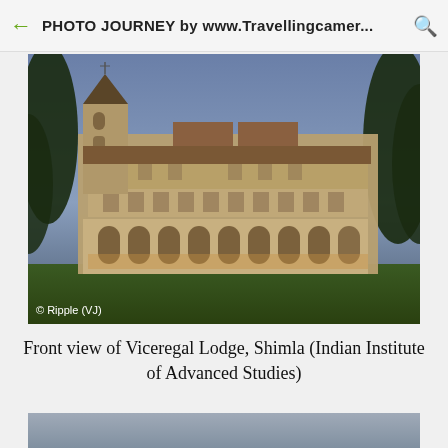PHOTO JOURNEY by www.Travellingcamer...
[Figure (photo): Front view of Viceregal Lodge, Shimla at dusk/twilight. A large Victorian-era stone building illuminated against a blue-grey sky, with trees on either side. Copyright watermark: © Ripple (VJ)]
Front view of Viceregal Lodge, Shimla (Indian Institute of Advanced Studies)
[Figure (photo): Partially visible second photo at the bottom of the page, showing a grey sky.]